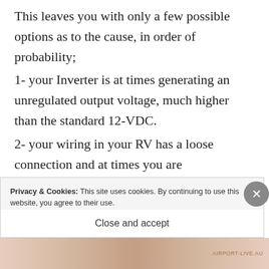This leaves you with only a few possible options as to the cause, in order of probability;
1- your Inverter is at times generating an unregulated output voltage, much higher than the standard 12-VDC.
2- your wiring in your RV has a loose connection and at times you are
Privacy & Cookies: This site uses cookies. By continuing to use this website, you agree to their use.
To find out more, including how to control cookies, see here: Cookie Policy
Close and accept